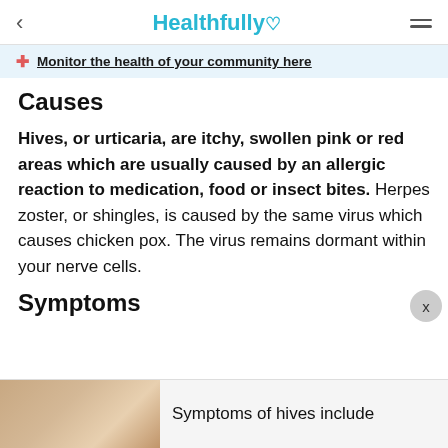< Healthfully ♡ ≡
Monitor the health of your community here
Causes
Hives, or urticaria, are itchy, swollen pink or red areas which are usually caused by an allergic reaction to medication, food or insect bites. Herpes zoster, or shingles, is caused by the same virus which causes chicken pox. The virus remains dormant within your nerve cells.
Symptoms
Symptoms of hives include